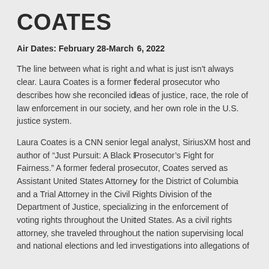COATES
Air Dates: February 28-March 6, 2022
The line between what is right and what is just isn't always clear.  Laura Coates is a former federal prosecutor who describes how she reconciled ideas of justice, race, the role of law enforcement in our society, and her own role in the U.S. justice system.
Laura Coates is a CNN senior legal analyst, SiriusXM host and author of “Just Pursuit: A Black Prosecutor’s Fight for Fairness.”  A former federal prosecutor, Coates served as Assistant United States Attorney for the District of Columbia and a Trial Attorney in the Civil Rights Division of the Department of Justice, specializing in the enforcement of voting rights throughout the United States.  As a civil rights attorney, she traveled throughout the nation supervising local and national elections and led investigations into allegations of